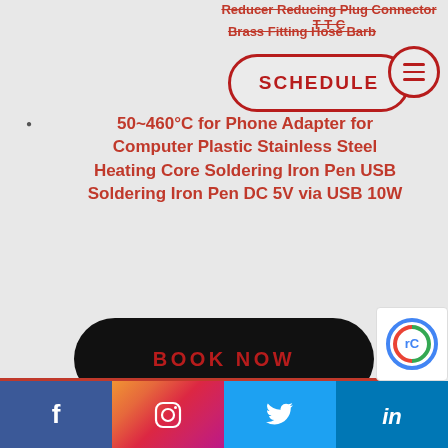Reducer Reducing Plug Connector T T C
Brass Fitting Hose Barb
[Figure (other): SCHEDULE button with red border and hamburger menu icon]
50~460°C for Phone Adapter for Computer Plastic Stainless Steel Heating Core Soldering Iron Pen USB Soldering Iron Pen DC 5V via USB 10W
[Figure (other): BOOK NOW black rounded button]
[Figure (other): Footer social media icons: Facebook, Instagram, Twitter, LinkedIn]
[Figure (other): reCAPTCHA badge]